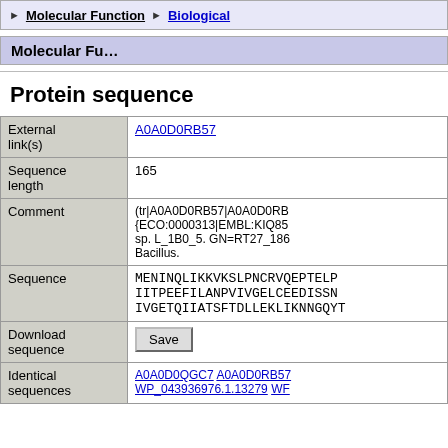▶ Molecular Function ▶ Biological
Molecular Fu...
Protein sequence
| Field | Value |
| --- | --- |
| External link(s) | A0A0D0RB57 |
| Sequence length | 165 |
| Comment | (tr|A0A0D0RB57|A0A0D0RB... {ECO:0000313|EMBL:KIQ85... sp. L_1B0_5. GN=RT27_186... Bacillus. |
| Sequence | MENINQLIKKVKSLPNCRVQEPTELP IITPEEFILANPVIVGELCEEDISSN IVGETQIIATSFTDLLEKLIKNNGQYT |
| Download sequence | Save |
| Identical sequences | A0A0D0QGC7 A0A0D0RB57 WP_043936976.1.13279 WF... |